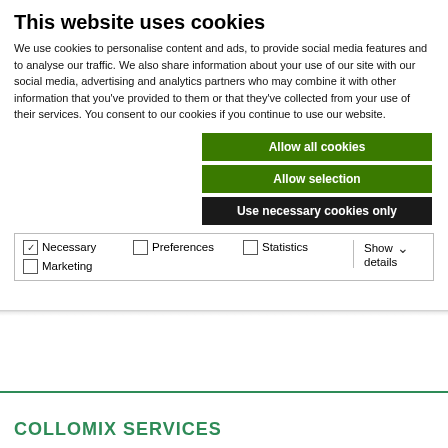This website uses cookies
We use cookies to personalise content and ads, to provide social media features and to analyse our traffic. We also share information about your use of our site with our social media, advertising and analytics partners who may combine it with other information that you've provided to them or that they've collected from your use of their services. You consent to our cookies if you continue to use our website.
Allow all cookies
Allow selection
Use necessary cookies only
| ✓ Necessary | Preferences | Statistics | Show details ∨ |
| Marketing |  |  |  |
COLLOMIX SERVICES